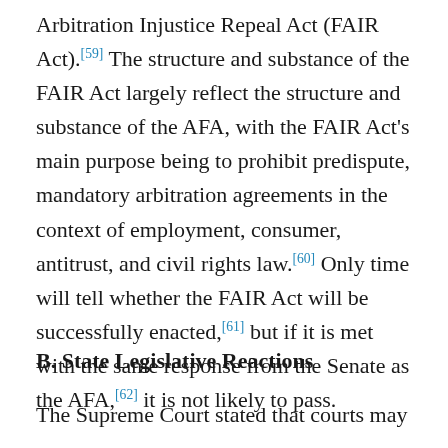Arbitration Injustice Repeal Act (FAIR Act). [59] The structure and substance of the FAIR Act largely reflect the structure and substance of the AFA, with the FAIR Act's main purpose being to prohibit predispute, mandatory arbitration agreements in the context of employment, consumer, antitrust, and civil rights law. [60] Only time will tell whether the FAIR Act will be successfully enacted, [61] but if it is met with the same response from the Senate as the AFA, [62] it is not likely to pass.
B. State Legislative Reactions
The Supreme Court stated that courts may